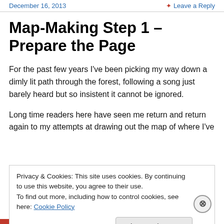December 16, 2013   Leave a Reply
Map-Making Step 1 – Prepare the Page
For the past few years I've been picking my way down a dimly lit path through the forest, following a song just barely heard but so insistent it cannot be ignored.
Long time readers here have seen me return and return again to my attempts at drawing out the map of where I've
Privacy & Cookies: This site uses cookies. By continuing to use this website, you agree to their use.
To find out more, including how to control cookies, see here: Cookie Policy
Close and accept